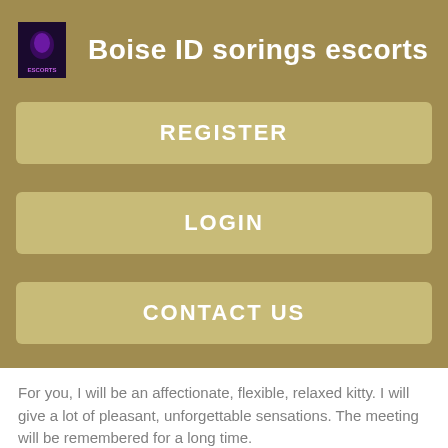Boise ID sorings escorts
REGISTER
LOGIN
CONTACT US
For you, I will be an affectionate, flexible, relaxed kitty. I will give a lot of pleasant, unforgettable sensations. The meeting will be remembered for a long time.
Dubai escorts
Waiting for you. I'm an independent companion from Scandinavian Dubai first time ever th November. Pre-book now! Visit my prof website:www.